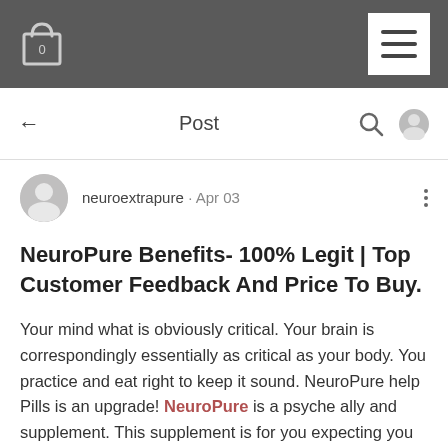Shopping bag (0) | Hamburger menu
← Post 🔍 👤
neuroextrapure · Apr 03
NeuroPure Benefits- 100% Legit | Top Customer Feedback And Price To Buy.
Your mind what is obviously critical. Your brain is correspondingly essentially as critical as your body. You practice and eat right to keep it sound. NeuroPure help Pills is an upgrade! NeuroPure is a psyche ally and supplement. This supplement is for you expecting you really want your brain